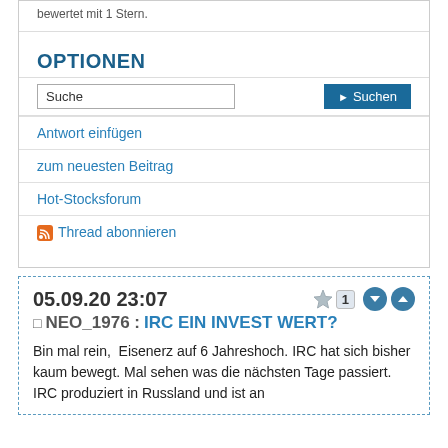bewertet mit 1 Stern.
OPTIONEN
Suche [input] | Suchen [button]
Antwort einfügen
zum neuesten Beitrag
Hot-Stocksforum
Thread abonnieren
05.09.20 23:07 ★1
NEO_1976 : IRC EIN INVEST WERT?
Bin mal rein,  Eisenerz auf 6 Jahreshoch. IRC hat sich bisher kaum bewegt. Mal sehen was die nächsten Tage passiert. IRC produziert in Russland und ist an